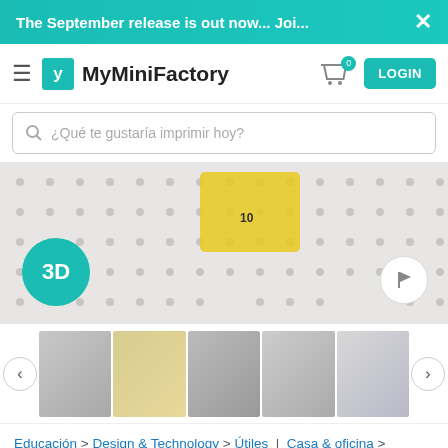The September release is out now... Joi...
[Figure (screenshot): MyMiniFactory website navigation bar with hamburger menu, logo, cart icon with badge showing 0, and LOGIN button]
¿Qué te gustaría imprimir hoy?
[Figure (photo): Main product image showing a pegboard wall organizer with tools, tape measure, and multitools. Has a teal 3D badge and a flag/report button.]
[Figure (photo): Thumbnail strip showing 5 product images of the pegboard organizer with different items attached, with left and right navigation arrows.]
Educación > Design & Technology > Útiles | Casa & oficina > Accesorios | Casa & oficina > Homeware > Storage and boxes
5,689 descargas  |  40,543 visitas